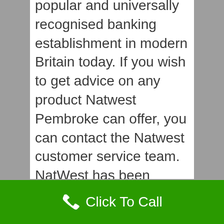popular and universally recognised banking establishment in modern Britain today. If you wish to get advice on any product Natwest Pembroke can offer, you can contact the Natwest customer service team. NatWest has been particularly recognised for its excellent reputation as a mortgage lender. Natwest has received Your Mortgage Magazine's Best Bank for Mortgages award a staggering 13 times in the last 17 years, which is more than any other lender. To continue to make banking easy for their customers they operate an online banking site, a smartphone banking app and a 24-hour customer service line. If you wish to
Click To Call